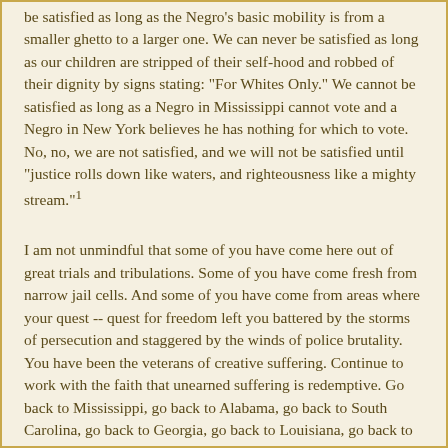be satisfied as long as the Negro's basic mobility is from a smaller ghetto to a larger one. We can never be satisfied as long as our children are stripped of their self-hood and robbed of their dignity by signs stating: "For Whites Only." We cannot be satisfied as long as a Negro in Mississippi cannot vote and a Negro in New York believes he has nothing for which to vote. No, no, we are not satisfied, and we will not be satisfied until "justice rolls down like waters, and righteousness like a mighty stream."¹
I am not unmindful that some of you have come here out of great trials and tribulations. Some of you have come fresh from narrow jail cells. And some of you have come from areas where your quest -- quest for freedom left you battered by the storms of persecution and staggered by the winds of police brutality. You have been the veterans of creative suffering. Continue to work with the faith that unearned suffering is redemptive. Go back to Mississippi, go back to Alabama, go back to South Carolina, go back to Georgia, go back to Louisiana, go back to the slums